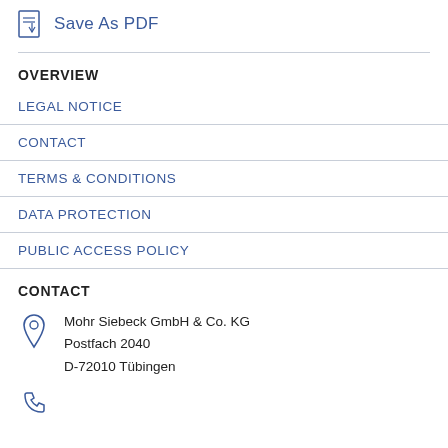[Figure (other): Save As PDF icon button with PDF file icon]
OVERVIEW
LEGAL NOTICE
CONTACT
TERMS & CONDITIONS
DATA PROTECTION
PUBLIC ACCESS POLICY
CONTACT
Mohr Siebeck GmbH & Co. KG
Postfach 2040
D-72010 Tübingen